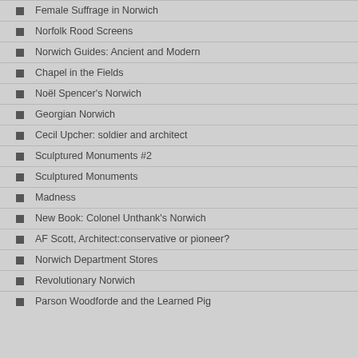Female Suffrage in Norwich
Norfolk Rood Screens
Norwich Guides: Ancient and Modern
Chapel in the Fields
Noël Spencer's Norwich
Georgian Norwich
Cecil Upcher: soldier and architect
Sculptured Monuments #2
Sculptured Monuments
Madness
New Book: Colonel Unthank's Norwich
AF Scott, Architect:conservative or pioneer?
Norwich Department Stores
Revolutionary Norwich
Parson Woodforde and the Learned Pig